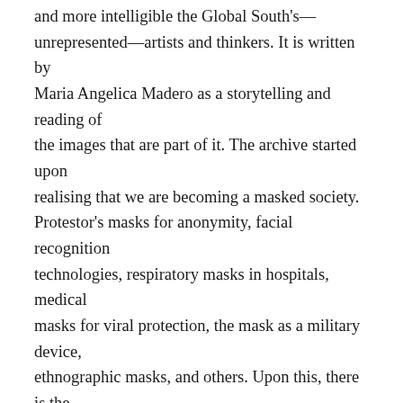and more intelligible the Global South's—unrepresented—artists and thinkers. It is written by Maria Angelica Madero as a storytelling and reading of the images that are part of it. The archive started upon realising that we are becoming a masked society. Protestor's masks for anonymity, facial recognition technologies, respiratory masks in hospitals, medical masks for viral protection, the mask as a military device, ethnographic masks, and others. Upon this, there is the necessity to unveil the complexity of the mask and its implications with a more rigorous study of the mask's dimensions.
Colin Black (Composer, Sound Artist and Radio Artist): Gloves, Masks & Confinement. Performance streamed live during the lockdown (18 April 2020) while the artist was in Ljubljana.